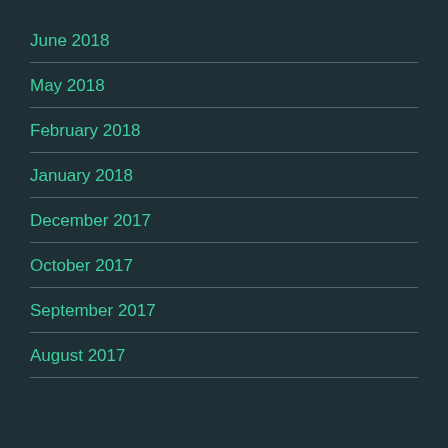June 2018
May 2018
February 2018
January 2018
December 2017
October 2017
September 2017
August 2017